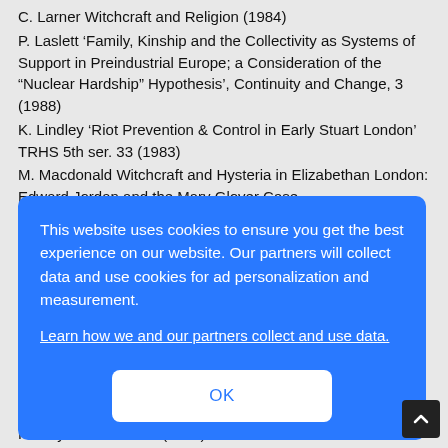C. Larner Witchcraft and Religion (1984)
P. Laslett ‘Family, Kinship and the Collectivity as Systems of Support in Preindustrial Europe; a Consideration of the “Nuclear Hardship” Hypothesis’, Continuity and Change, 3 (1988)
K. Lindley ‘Riot Prevention & Control in Early Stuart London’ TRHS 5th ser. 33 (1983)
M. Macdonald Witchcraft and Hysteria in Elizabethan London: Edward Jordan and the Mary Glover Case
(1988)
[Figure (screenshot): Cookie consent overlay on a blue background reading: 'This website uses cookies to ensure you get the best experience on our website. Our partners will collect data and use cookies for ad personalization and measurement. Learn how we and our partners collect and use data.' with an OK button.]
History of Medicine 5 (1992)